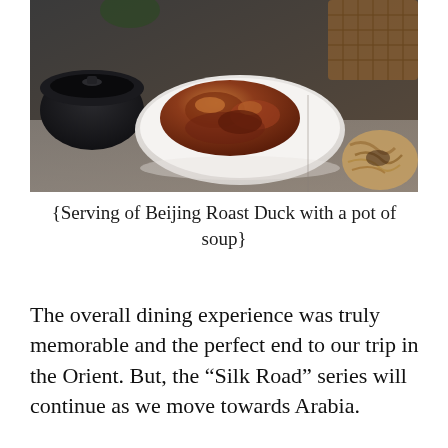[Figure (photo): A plate of Beijing Roast Duck with crispy skin served on a white oval plate, alongside a dark pot of soup on the left and noodles/side dish on the right, viewed from above on a table.]
{Serving of Beijing Roast Duck with a pot of soup}
The overall dining experience was truly memorable and the perfect end to our trip in the Orient. But, the “Silk Road” series will continue as we move towards Arabia.